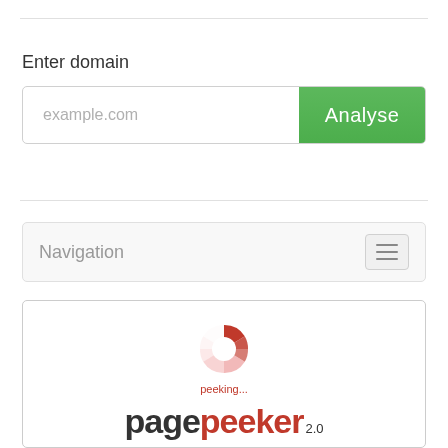Enter domain
[Figure (screenshot): A web form with a text input field showing placeholder text 'example.com' and a green 'Analyse' button]
Navigation
[Figure (screenshot): Preview box showing a loading spinner with 'peeking...' text and the PagePeeker 2.0 logo at the bottom]